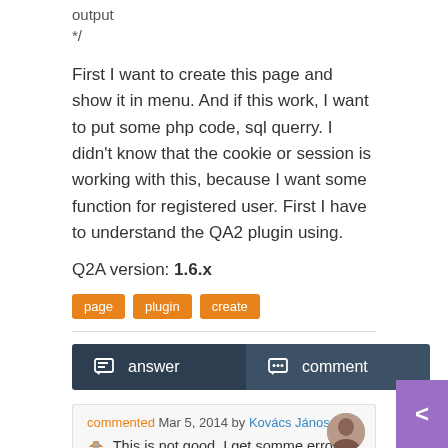output
*/
First I want to create this page and show it in menu. And if this work, I want to put some php code, sql querry. I didn't know that the cookie or session is working with this, because I want some function for registered user. First I have to understand the QA2 plugin using.
Q2A version: 1.6.x
page
plugin
create
answer   comment
commented Mar 5, 2014 by Kovács János
This is not good, I get somme errors:
Warning: session_start() [function.session-start]: